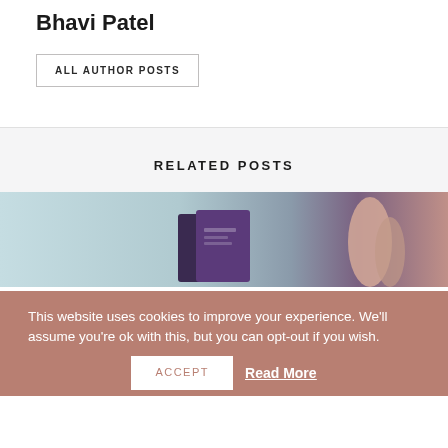Bhavi Patel
ALL AUTHOR POSTS
RELATED POSTS
[Figure (photo): Photo strip showing passports against a light blue background with a person in background]
This website uses cookies to improve your experience. We'll assume you're ok with this, but you can opt-out if you wish.
ACCEPT
Read More